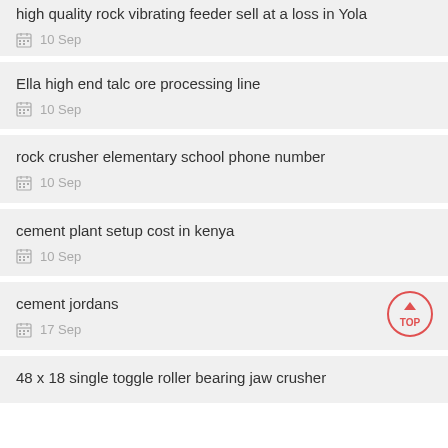high quality rock vibrating feeder sell at a loss in Yola
10 Sep
Ella high end talc ore processing line
10 Sep
rock crusher elementary school phone number
10 Sep
cement plant setup cost in kenya
10 Sep
cement jordans
17 Sep
48 x 18 single toggle roller bearing jaw crusher